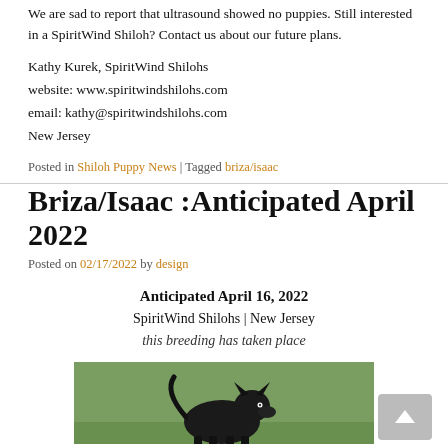We are sad to report that ultrasound showed no puppies. Still interested in a SpiritWind Shiloh? Contact us about our future plans.
Kathy Kurek, SpiritWind Shilohs
website: www.spiritwindshilohs.com
email: kathy@spiritwindshilohs.com
New Jersey
Posted in Shiloh Puppy News | Tagged briza/isaac
Briza/Isaac :Anticipated April 2022
Posted on 02/17/2022 by design
Anticipated April 16, 2022
SpiritWind Shilohs | New Jersey
this breeding has taken place
[Figure (photo): Photo of a black dog (Shiloh Shepherd) sitting in a green grassy field, partially cropped at bottom.]